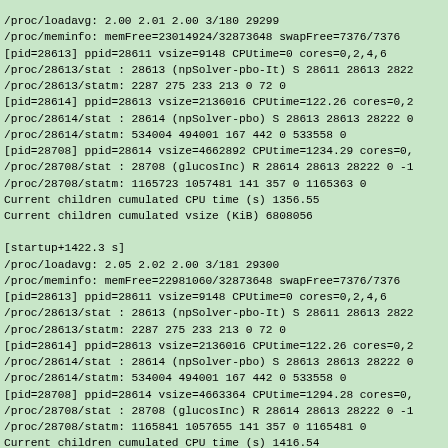/proc/loadavg: 2.00 2.01 2.00 3/180 29299
/proc/meminfo: memFree=23014924/32873648 swapFree=7376/7376
[pid=28613] ppid=28611 vsize=9148 CPUtime=0 cores=0,2,4,6
/proc/28613/stat : 28613 (npSolver-pbo-It) S 28611 28613 2822
/proc/28613/statm: 2287 275 233 213 0 72 0
[pid=28614] ppid=28613 vsize=2136016 CPUtime=122.26 cores=0,2
/proc/28614/stat : 28614 (npSolver-pbo) S 28613 28613 28222 0
/proc/28614/statm: 534004 494001 167 442 0 533558 0
[pid=28708] ppid=28614 vsize=4662892 CPUtime=1234.29 cores=0,
/proc/28708/stat : 28708 (glucosInc) R 28614 28613 28222 0 -1
/proc/28708/statm: 1165723 1057481 141 357 0 1165363 0
Current children cumulated CPU time (s) 1356.55
Current children cumulated vsize (KiB) 6808056

[startup+1422.3 s]
/proc/loadavg: 2.05 2.02 2.00 3/181 29300
/proc/meminfo: memFree=22981060/32873648 swapFree=7376/7376
[pid=28613] ppid=28611 vsize=9148 CPUtime=0 cores=0,2,4,6
/proc/28613/stat : 28613 (npSolver-pbo-It) S 28611 28613 2822
/proc/28613/statm: 2287 275 233 213 0 72 0
[pid=28614] ppid=28613 vsize=2136016 CPUtime=122.26 cores=0,2
/proc/28614/stat : 28614 (npSolver-pbo) S 28613 28613 28222 0
/proc/28614/statm: 534004 494001 167 442 0 533558 0
[pid=28708] ppid=28614 vsize=4663364 CPUtime=1294.28 cores=0,
/proc/28708/stat : 28708 (glucosInc) R 28614 28613 28222 0 -1
/proc/28708/statm: 1165841 1057655 141 357 0 1165481 0
Current children cumulated CPU time (s) 1416.54
Current children cumulated vsize (KiB) 6808528

[startup+1482.3 s]
/proc/loadavg: 2.02 2.02 2.00 3/181 29300
/proc/meminfo: memFree=23003300/32873648 swapFree=7376/7376
[pid=28613] ppid=28611 vsize=9148 CPUtime=0 cores=0,2,4,6